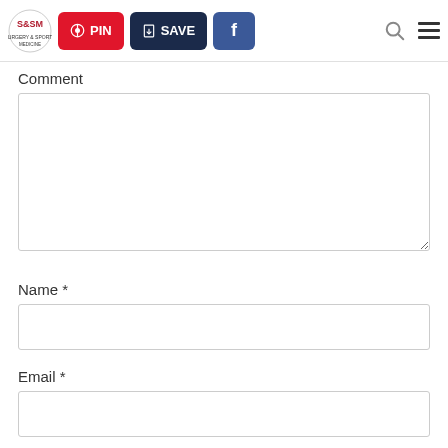S&SM logo, PIN button, SAVE button, Facebook button, Search icon, Menu icon
Comment
[Figure (other): Empty comment textarea input box]
Name *
[Figure (other): Empty name text input box]
Email *
[Figure (other): Empty email text input box (partially visible)]